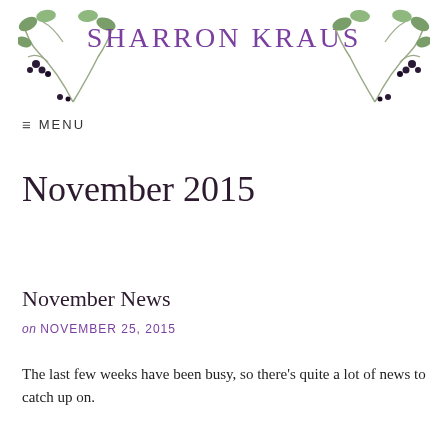SHARRON KRAUS
≡ MENU
November 2015
November News
on NOVEMBER 25, 2015
The last few weeks have been busy, so there's quite a lot of news to catch up on.